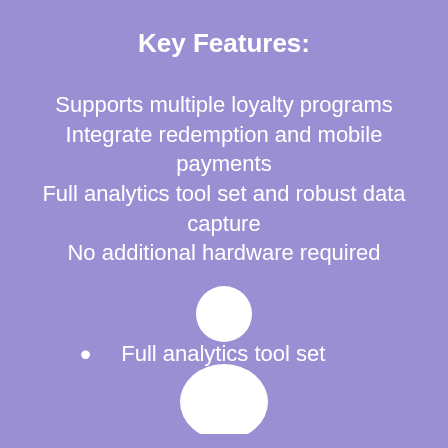Key Features:
Supports multiple loyalty programs
Integrate redemption and mobile payments
Full analytics tool set and robust data capture
No additional hardware required
Full analytics tool set
[Figure (illustration): White silhouette of a person (head circle and body/torso shape) on purple background]